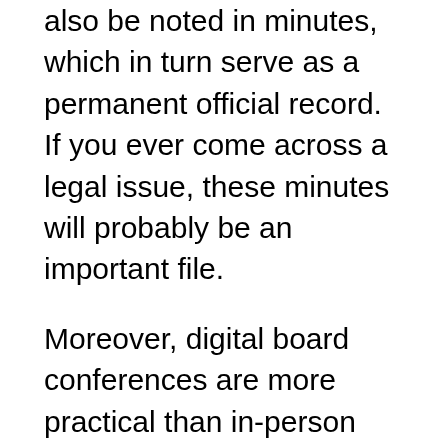also be noted in minutes, which in turn serve as a permanent official record. If you ever come across a legal issue, these minutes will probably be an important file.
Moreover, digital board conferences are more practical than in-person meetings, and board people can take part from all over the world. This makes these people more likely to enroll in, which grows their chances of attendance. A virtual board achieving also decreases travel costs, which may prevent a person from going to a traditional plank meeting. Yet , virtual meetings are not suited for every single organization. A virtual panel meeting can make it easier to reach quorum and get a good look